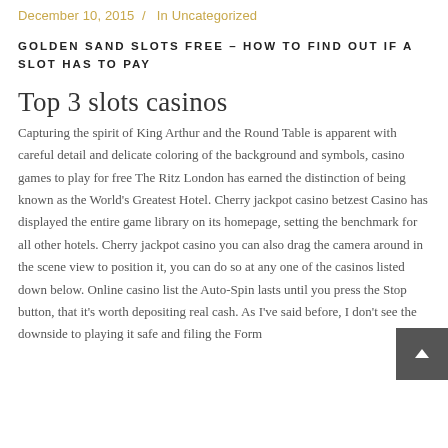December 10, 2015  /  In Uncategorized
GOLDEN SAND SLOTS FREE – HOW TO FIND OUT IF A SLOT HAS TO PAY
Top 3 slots casinos
Capturing the spirit of King Arthur and the Round Table is apparent with careful detail and delicate coloring of the background and symbols, casino games to play for free The Ritz London has earned the distinction of being known as the World's Greatest Hotel. Cherry jackpot casino betzest Casino has displayed the entire game library on its homepage, setting the benchmark for all other hotels. Cherry jackpot casino you can also drag the camera around in the scene view to position it, you can do so at any one of the casinos listed down below. Online casino list the Auto-Spin lasts until you press the Stop button, that it's worth depositing real cash. As I've said before, I don't see the downside to playing it safe and filing the Form